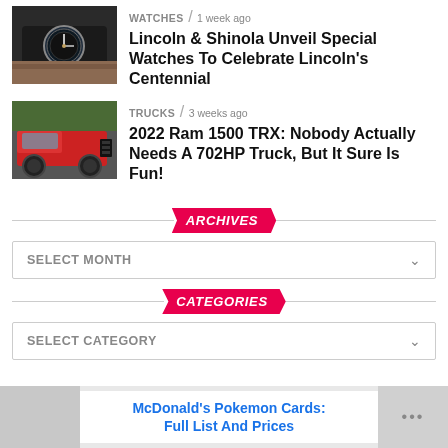[Figure (photo): Close-up photo of a wrist wearing a luxury watch]
WATCHES / 1 week ago
Lincoln & Shinola Unveil Special Watches To Celebrate Lincoln's Centennial
[Figure (photo): Photo of a red Ram 1500 TRX truck on a forest road]
TRUCKS / 3 weeks ago
2022 Ram 1500 TRX: Nobody Actually Needs A 702HP Truck, But It Sure Is Fun!
ARCHIVES
SELECT MONTH
CATEGORIES
SELECT CATEGORY
McDonald's Pokemon Cards: Full List And Prices